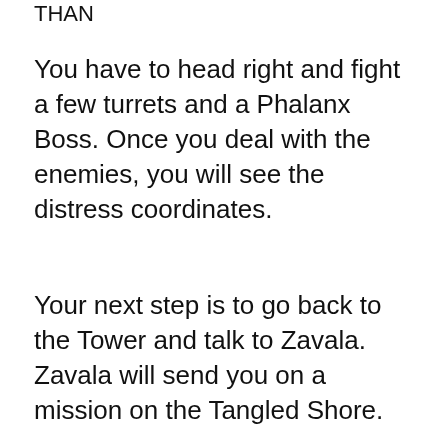THAN
You have to head right and fight a few turrets and a Phalanx Boss. Once you deal with the enemies, you will see the distress coordinates.
Your next step is to go back to the Tower and talk to Zavala. Zavala will send you on a mission on the Tangled Shore.